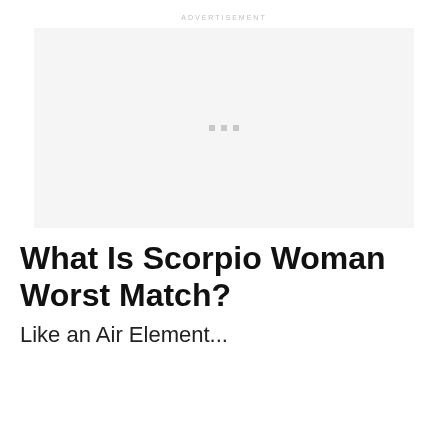ADVERTISEMENT
[Figure (other): Advertisement placeholder box with three small gray squares in the center]
What Is Scorpio Woman Worst Match?
Like an Air Element...